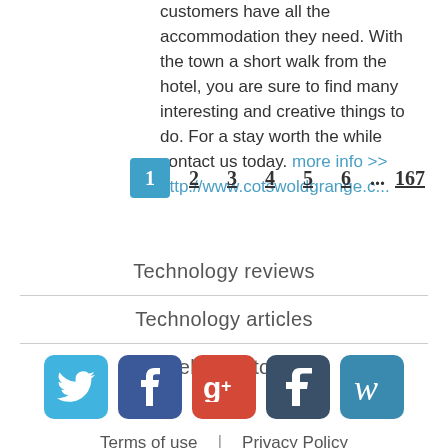customers have all the accommodation they need. With the town a short walk from the hotel, you are sure to find many interesting and creative things to do. For a stay worth the while contact us today. more info >> http://www.cotswoldgrange.c...
1 2 3 4 5 6 … 167 (pagination)
Technology reviews
Technology articles
Web directory
[Figure (infographic): Social media icons: Twitter, Facebook, Google+, Tumblr, Wikipedia]
Terms of use | Privacy Policy